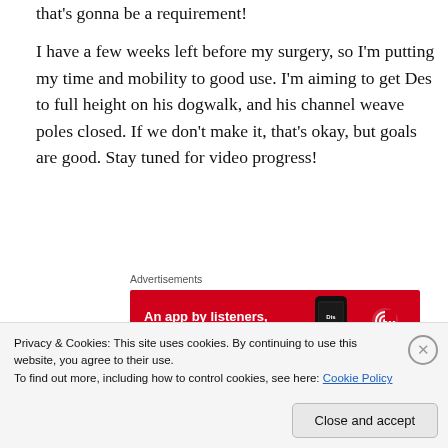that's gonna be a requirement!
I have a few weeks left before my surgery, so I'm putting my time and mobility to good use. I'm aiming to get Des to full height on his dogwalk, and his channel weave poles closed. If we don't make it, that's okay, but goals are good. Stay tuned for video progress!
[Figure (other): Pocket Casts advertisement banner: red background with text 'An app by listeners, for listeners.' and Pocket Casts logo with a phone image showing 'Distributed' text]
I'll apologize now. in the coming months, I may be posting
Privacy & Cookies: This site uses cookies. By continuing to use this website, you agree to their use. To find out more, including how to control cookies, see here: Cookie Policy
Close and accept